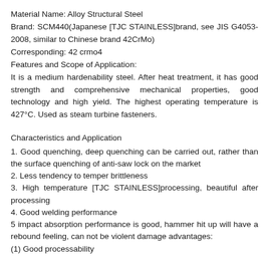Material Name: Alloy Structural Steel
Brand: SCM440(Japanese [TJC STAINLESS]brand, see JIS G4053-2008, similar to Chinese brand 42CrMo)
Corresponding: 42 crmo4
Features and Scope of Application:
It is a medium hardenability steel. After heat treatment, it has good strength and comprehensive mechanical properties, good technology and high yield. The highest operating temperature is 427°C. Used as steam turbine fasteners.
Characteristics and Application
1. Good quenching, deep quenching can be carried out, rather than the surface quenching of anti-saw lock on the market
2. Less tendency to temper brittleness
3. High temperature [TJC STAINLESS]processing, beautiful after processing
4. Good welding performance
5 impact absorption performance is good, hammer hit up will have a rebound feeling, can not be violent damage advantages:
(1) Good processability